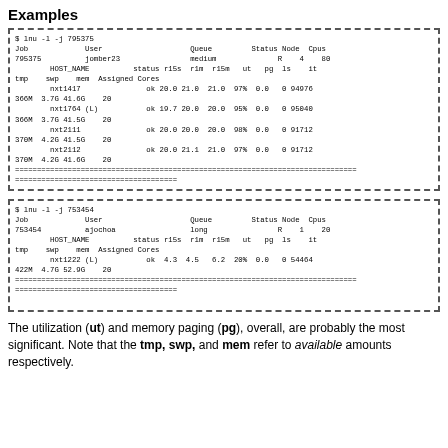Examples
[Figure (screenshot): Terminal output of lnu -l -j 795375 showing job details for jomber23 on medium queue, running on 4 nodes with 80 cpus, with host details for nxt1417, nxt1764 (L), nxt2111, nxt2112]
[Figure (screenshot): Terminal output of lnu -l -j 753454 showing job details for ajochoa on long queue, running on 1 node with 20 cpus, with host details for nxt1222 (L)]
The utilization (ut) and memory paging (pg), overall, are probably the most significant. Note that the tmp, swp, and mem refer to available amounts respectively.